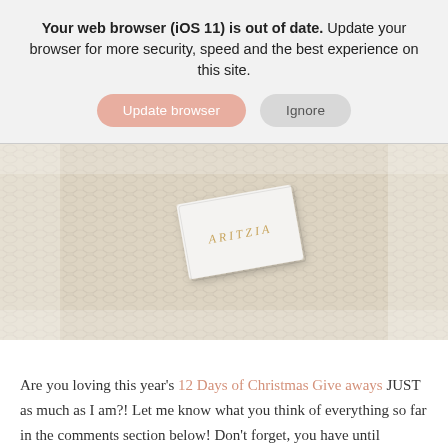Your web browser (iOS 11) is out of date. Update your browser for more security, speed and the best experience on this site.
Update browser | Ignore
[Figure (photo): Close-up photo of a cream/ivory chunky knit fabric with a white Aritzia gift card placed on top, showing 'ARITZIA' in gold lettering.]
Are you loving this year's 12 Days of Christmas Giveaways JUST as much as I am?! Let me know what you think of everything so far in the comments section below! Don't forget, you have until Sunday,